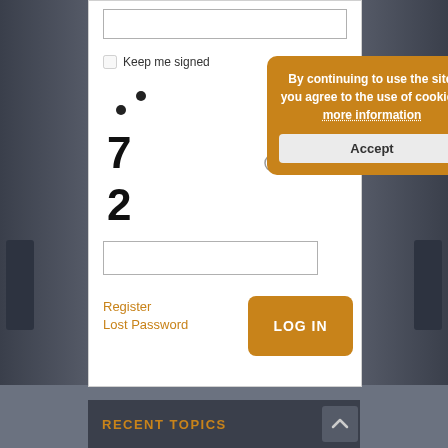[Figure (screenshot): Login form with checkbox 'Keep me signed', CAPTCHA numbers 7 and 2 with dots, a captcha input field, Register and Lost Password links, and a LOG IN button. A cookie consent popup overlays part of the form with text 'By continuing to use the site, you agree to the use of cookies. more information' and an Accept button.]
Keep me signed
7
2
By continuing to use the site, you agree to the use of cookies. more information
Accept
Register
Lost Password
LOG IN
RECENT TOPICS